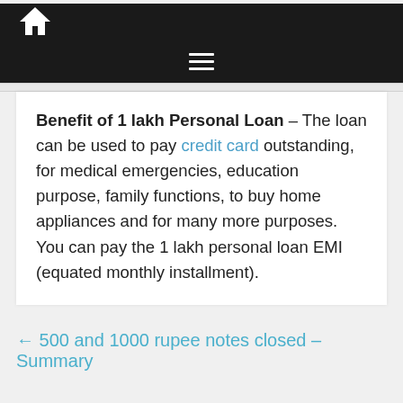Home / Menu navigation bar
Benefit of 1 lakh Personal Loan – The loan can be used to pay credit card outstanding, for medical emergencies, education purpose, family functions, to buy home appliances and for many more purposes. You can pay the 1 lakh personal loan EMI (equated monthly installment).
← 500 and 1000 rupee notes closed – Summary
1.5 lakh Personal Loan EMI Calculator Details →